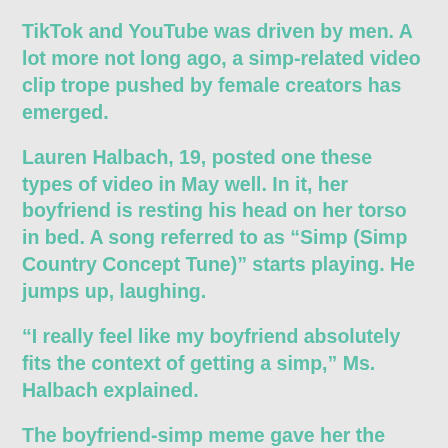TikTok and YouTube was driven by men. A lot more not long ago, a simp-related video clip trope pushed by female creators has emerged.
Lauren Halbach, 19, posted one these types of video in May well. In it, her boyfriend is resting his head on her torso in bed. A song referred to as “Simp (Simp Country Concept Tune)” starts playing. He jumps up, laughing.
“I really feel like my boyfriend absolutely fits the context of getting a simp,” Ms. Halbach explained.
The boyfriend-simp meme gave her the prospect to switch the tables on TikTok’s alpha male lifestyle, she stated, where by girls are frequently “shamed or slammed for remaining way too